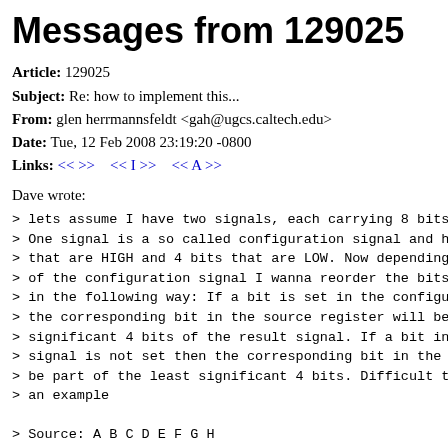Messages from 129025
Article: 129025
Subject: Re: how to implement this...
From: glen herrmannsfeldt <gah@ugcs.caltech.edu>
Date: Tue, 12 Feb 2008 23:19:20 -0800
Links: << >>   << I >>   << A >>
Dave wrote:
> lets assume I have two signals, each carrying 8 bits of
> One signal is a so called configuration signal and has
> that are HIGH and 4 bits that are LOW. Now depending on
> of the configuration signal I wanna reorder the bits in
> in the following way: If a bit is set in the configurat
> the corresponding bit in the source register will be pa
> significant 4 bits of the result signal. If a bit in th
> signal is not set then the corresponding bit in the sou
> be part of the least significant 4 bits. Difficult to d
> an example

> Source: A B C D E F G H
> Configuration: 1 0 1 0 1 0 1 0

> Result = ACEG BDFH

> So I could have two 8 to 4 - muxes that generate me the